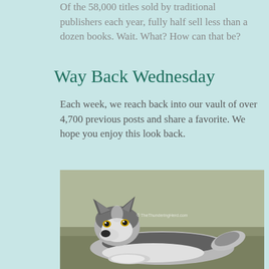Of the 58,000 titles sold by traditional publishers each year, fully half sell less than a dozen books. Wait. What? How can that be?
Way Back Wednesday
Each week, we reach back into our vault of over 4,700 previous posts and share a favorite. We hope you enjoy this look back.
[Figure (photo): A Siberian Husky dog lying down on grass, looking at the camera. Watermark reads '© TheThunderingHerd.com'. A gray scroll-to-top button is visible on the right.]